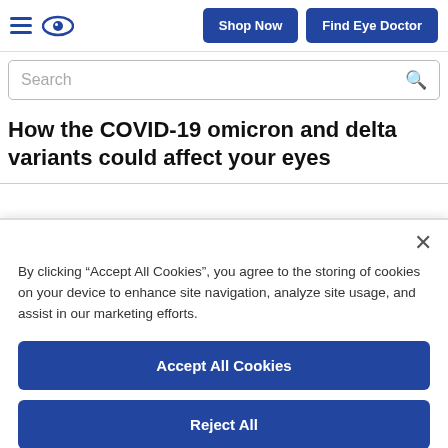Shop Now | Find Eye Doctor
Search
How the COVID-19 omicron and delta variants could affect your eyes
By clicking “Accept All Cookies”, you agree to the storing of cookies on your device to enhance site navigation, analyze site usage, and assist in our marketing efforts.
Accept All Cookies
Reject All
Cookies Settings